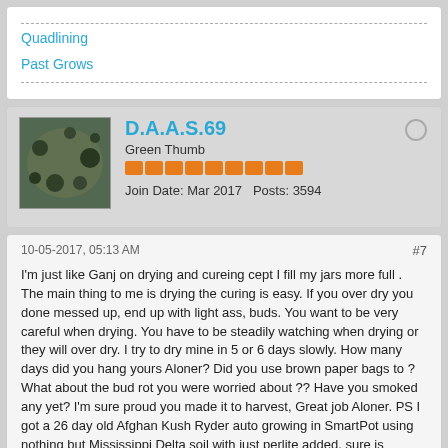Quadlining
Past Grows
D.A.A.S.69
Green Thumb
Join Date: Mar 2017   Posts: 3594
10-05-2017, 05:13 AM
#7
I'm just like Ganj on drying and cureing cept I fill my jars more full . The main thing to me is drying the curing is easy. If you over dry you done messed up, end up with light ass, buds. You want to be very careful when drying. You have to be steadily watching when drying or they will over dry. I try to dry mine in 5 or 6 days slowly. How many days did you hang yours Aloner? Did you use brown paper bags to ? What about the bud rot you were worried about ?? Have you smoked any yet? I'm sure proud you made it to harvest, Great job Aloner. PS I got a 26 day old Afghan Kush Ryder auto growing in SmartPot using nothing but Mississippi Delta soil with just perlite added, sure is healthy an green looking. I ain't giving her nothing but PHed water ,no nutrients at all.
Cfls for a week or two